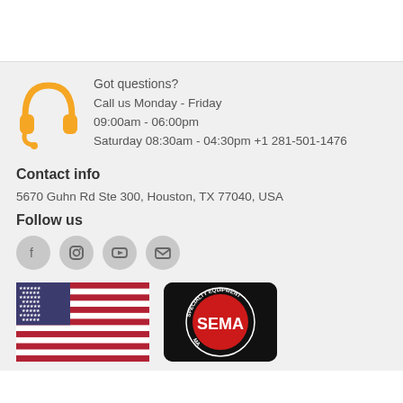Got questions?
Call us Monday - Friday
09:00am - 06:00pm
Saturday 08:30am - 04:30pm +1 281-501-1476
Contact info
5670 Guhn Rd Ste 300, Houston, TX 77040, USA
Follow us
[Figure (infographic): Social media icons: Facebook, Instagram, YouTube, Email in circular grey buttons]
[Figure (illustration): US flag and SEMA (Specialty Equipment Market Association) logo badge]